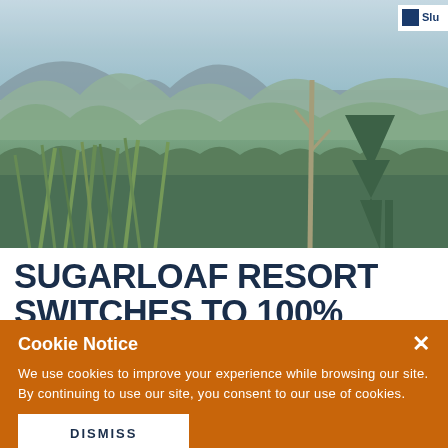[Figure (photo): Mountain landscape photograph showing blue-grey mountain ridges in the background, green forested slopes in the middle ground, and tall grass/reeds in the foreground. A conifer tree is visible on the right side. Small Sugarloaf logo tab visible in upper right corner.]
SUGARLOAF RESORT SWITCHES TO 100% RENEWABLE ELECTRICITY
Cookie Notice
We use cookies to improve your experience while browsing our site. By continuing to use our site, you consent to our use of cookies.
DISMISS